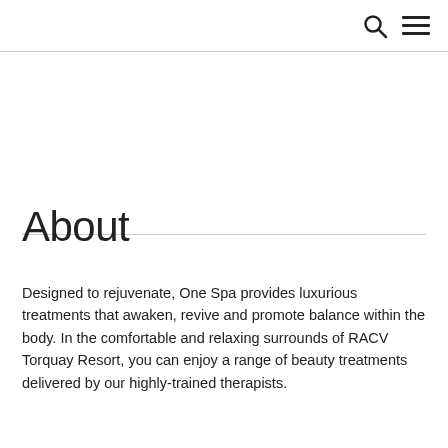[search icon] [menu icon]
About
Designed to rejuvenate, One Spa provides luxurious treatments that awaken, revive and promote balance within the body. In the comfortable and relaxing surrounds of RACV Torquay Resort, you can enjoy a range of beauty treatments delivered by our highly-trained therapists.
One Spa offers an exclusive and personalised treatment menu that includes...